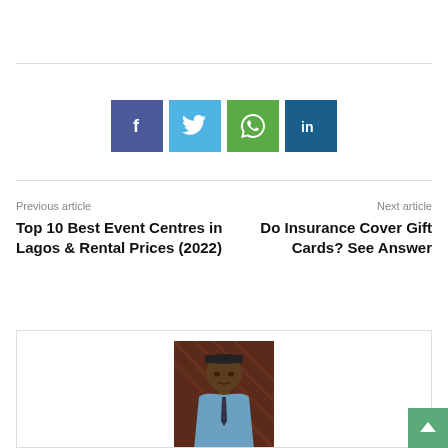[Figure (infographic): Social share buttons: Facebook (dark blue), Twitter (light blue), WhatsApp (green), LinkedIn (dark teal)]
Previous article
Top 10 Best Event Centres in Lagos & Rental Prices (2022)
Next article
Do Insurance Cover Gift Cards? See Answer
[Figure (photo): Portrait photo of a young man wearing a cap and blue shirt with tie, against a dark red/brown background]